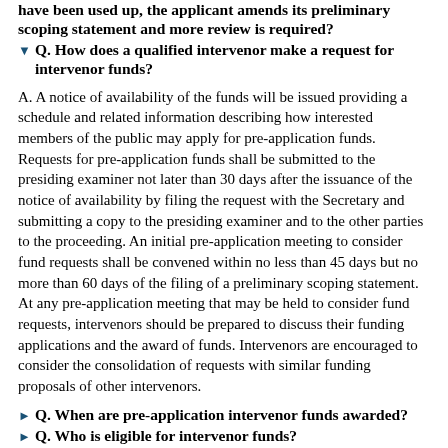have been used up, the applicant amends its preliminary scoping statement and more review is required?
Q. How does a qualified intervenor make a request for intervenor funds?
A. A notice of availability of the funds will be issued providing a schedule and related information describing how interested members of the public may apply for pre-application funds. Requests for pre-application funds shall be submitted to the presiding examiner not later than 30 days after the issuance of the notice of availability by filing the request with the Secretary and submitting a copy to the presiding examiner and to the other parties to the proceeding. An initial pre-application meeting to consider fund requests shall be convened within no less than 45 days but no more than 60 days of the filing of a preliminary scoping statement. At any pre-application meeting that may be held to consider fund requests, intervenors should be prepared to discuss their funding applications and the award of funds. Intervenors are encouraged to consider the consolidation of requests with similar funding proposals of other intervenors.
Q. When are pre-application intervenor funds awarded?
Q. Who is eligible for intervenor funds?
Q. What can pre-application intervenor funds be used for?
Q. On what basis will the funds be awarded?